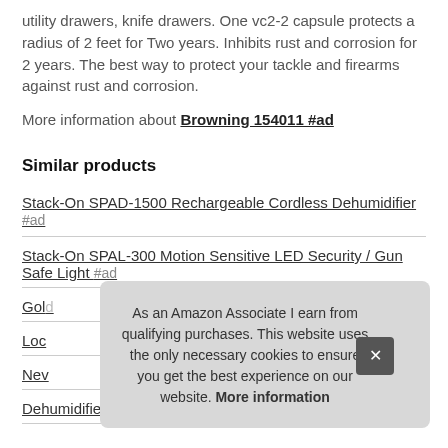utility drawers, knife drawers. One vc2-2 capsule protects a radius of 2 feet for Two years. Inhibits rust and corrosion for 2 years. The best way to protect your tackle and firearms against rust and corrosion.
More information about Browning 154011 #ad
Similar products
Stack-On SPAD-1500 Rechargeable Cordless Dehumidifier #ad
Stack-On SPAL-300 Motion Sensitive LED Security / Gun Safe Light #ad
Gol...
Loc...
Nev...
Dehumidifier #ad
As an Amazon Associate I earn from qualifying purchases. This website uses the only necessary cookies to ensure you get the best experience on our website. More information